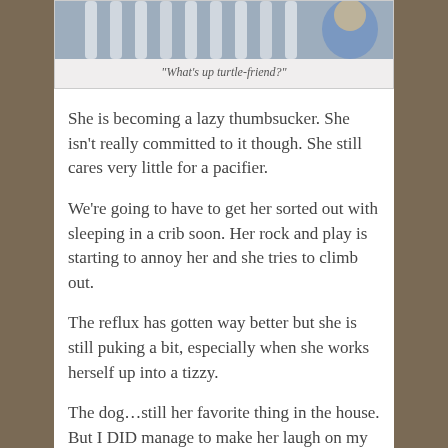[Figure (photo): Photo of a baby or child near a crib or railing, partially visible at top of page]
“What’s up turtle-friend?”
She is becoming a lazy thumbsucker.  She isn’t really committed to it though.  She still cares very little for a pacifier.
We’re going to have to get her sorted out with sleeping in a crib soon.  Her rock and play is starting to annoy her and she tries to climb out.
The reflux has gotten way better but she is still puking a bit, especially when she works herself up into a tizzy.
The dog…still her favorite thing in the house.  But I DID manage to make her laugh on my own once this week.  It was the first time without the dog’s help.